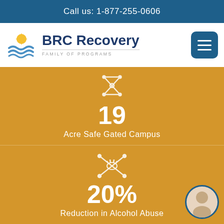Call us: 1-877-255-0606
[Figure (logo): BRC Recovery Family of Programs logo with sun and waves icon]
19
Acre Safe Gated Campus
20%
Reduction in Alcohol Abuse